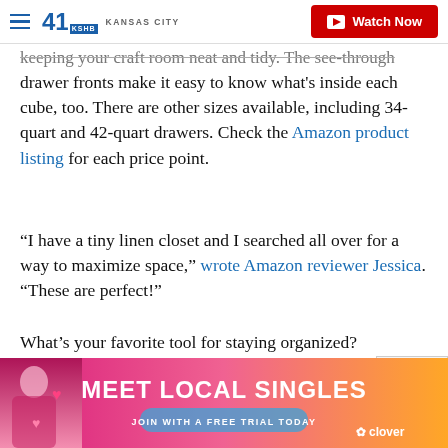41 KSHB KANSAS CITY — Watch Now
keeping your craft room neat and tidy. The see-through drawer fronts make it easy to know what's inside each cube, too. There are other sizes available, including 34-quart and 42-quart drawers. Check the Amazon product listing for each price point.
“I have a tiny linen closet and I searched all over for a way to maximize space,” wrote Amazon reviewer Jessica. “These are perfect!”
What’s your favorite tool for staying organized?
This story originally appeared on Simplemost.
[Figure (infographic): Advertisement banner: MEET LOCAL SINGLES with JOIN WITH A FREE TRIAL TODAY button and Clover branding]